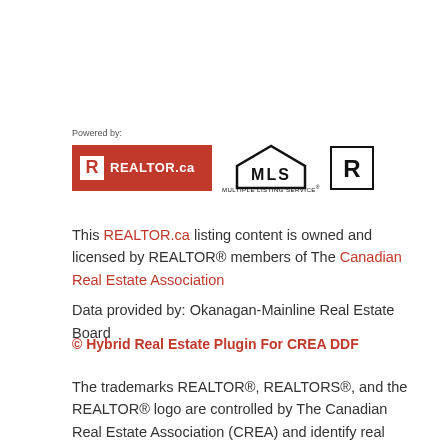[Figure (logo): Powered by: REALTOR.ca logo, MLS Multiple Listing Service logo, and REALTOR R logo]
This REALTOR.ca listing content is owned and licensed by REALTOR® members of The Canadian Real Estate Association
Data provided by: Okanagan-Mainline Real Estate Board
© Hybrid Real Estate Plugin For CREA DDF
The trademarks REALTOR®, REALTORS®, and the REALTOR® logo are controlled by The Canadian Real Estate Association (CREA) and identify real estate